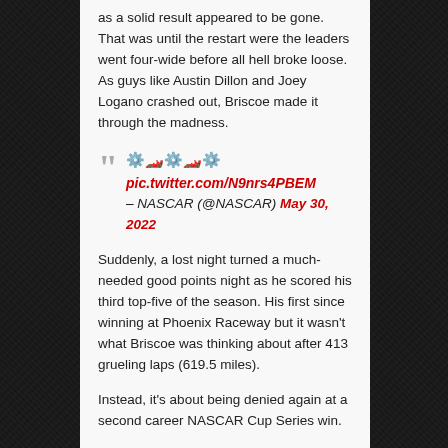as a solid result appeared to be gone. That was until the restart were the leaders went four-wide before all hell broke loose. As guys like Austin Dillon and Joey Logano crashed out, Briscoe made it through the madness.
🏁🏁🏁🏁🏁 pic.twitter.com/N9nrs4PBEM — NASCAR (@NASCAR) May 30, 2022
Suddenly, a lost night turned a much-needed good points night as he scored his third top-five of the season. His first since winning at Phoenix Raceway but it wasn't what Briscoe was thinking about after 413 grueling laps (619.5 miles).
Instead, it's about being denied again at a second career NASCAR Cup Series win.